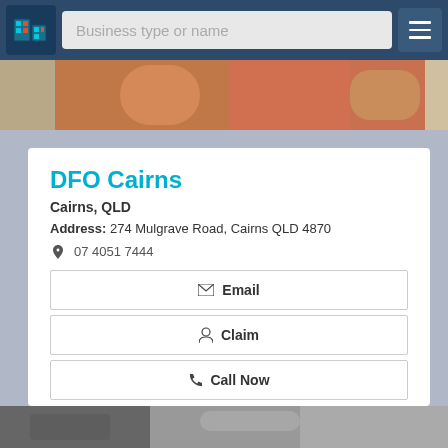Business type or name
[Figure (photo): Partial photo of people in orange/red clothing, part of a listing page banner]
DFO Cairns
Cairns, QLD
Address: 274 Mulgrave Road, Cairns QLD 4870
07 4051 7444
✉ Email
👤 Claim
📞 Call Now
View Details
[Figure (photo): Partial photo at bottom of page, dark/grey tones]